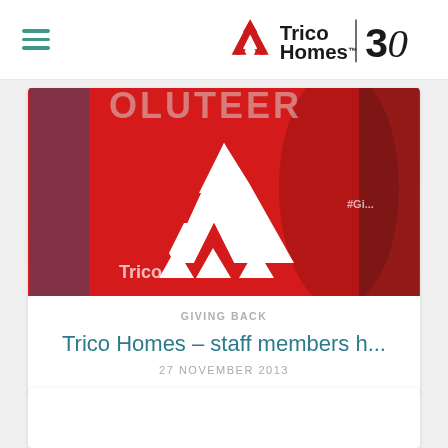Trico Homes 30
[Figure (photo): Person wearing a red Trico Homes volunteer t-shirt with the Trico logo on the back, partially showing text 'VOLUNTEER' at top]
GIVING BACK
Trico Homes – staff members h...
27 NOVEMBER 2013